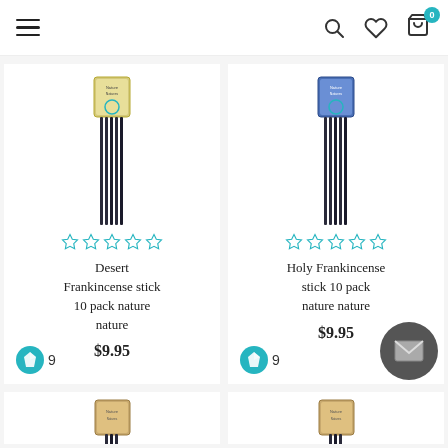Navigation header with hamburger menu and icons: search, wishlist, cart (0)
[Figure (photo): Desert Frankincense stick 10 pack incense product photo with green/yellow label packaging]
☆☆☆☆☆
Desert Frankincense stick 10 pack nature nature
$9.95
♦ 9
[Figure (photo): Holy Frankincense stick 10 pack incense product photo with blue label packaging]
☆☆☆☆☆
Holy Frankincense stick 10 pack nature nature
$9.95
♦ 9
[Figure (photo): Partially visible incense product with brown/tan label at bottom left]
[Figure (photo): Partially visible incense product with brown/tan label at bottom right]